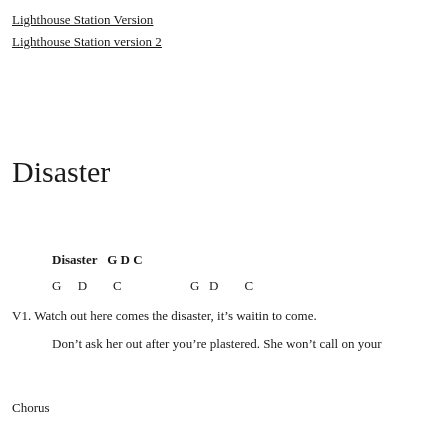Lighthouse Station Version
Lighthouse Station version 2
Disaster
Disaster   G D C
G     D        C                    G    D        C
V1. Watch out here comes the disaster, it’s waitin to come.
Don’t ask her out after you’re plastered. She won’t call on your
Chorus